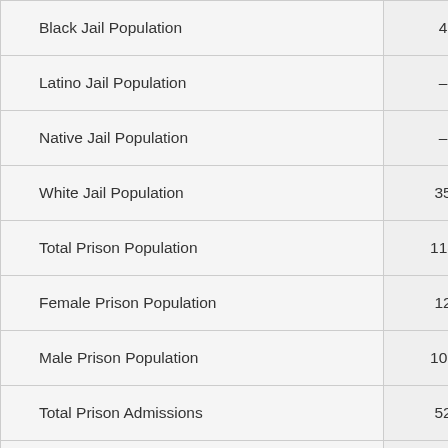|  |  |
| --- | --- |
| Black Jail Population | 4 |
| Latino Jail Population | – |
| Native Jail Population | – |
| White Jail Population | 35 |
| Total Prison Population | 118 |
| Female Prison Population | 12 |
| Male Prison Population | 106 |
| Total Prison Admissions | 52 |
| Female Prison Admissions | 6 |